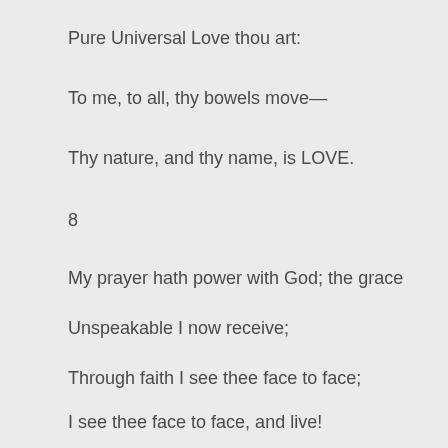Pure Universal Love thou art:
To me, to all, thy bowels move—
Thy nature, and thy name, is LOVE.
8
My prayer hath power with God; the grace
Unspeakable I now receive;
Through faith I see thee face to face;
I see thee face to face, and live!